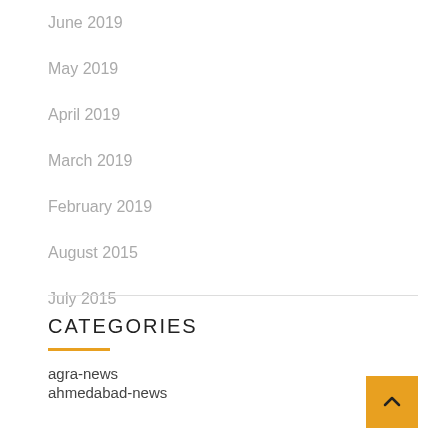June 2019
May 2019
April 2019
March 2019
February 2019
August 2015
July 2015
CATEGORIES
agra-news
ahmedabad-news